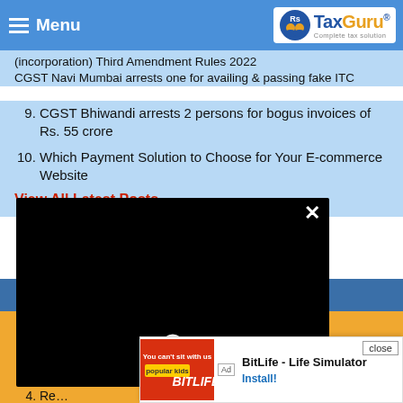Menu | TaxGuru - Complete tax solution
9. CGST Bhiwandi arrests 2 persons for bogus invoices of Rs. 55 crore
10. Which Payment Solution to Choose for Your E-commerce Website
View All Latest Posts
[Figure (screenshot): Black video player overlay with loading spinner and X close button]
3. 50 Practical FAQ's – GST on Renting of residential dwellings [Everything you must know – A 360-degree analysis]
4. Re...
5. De...
[Figure (screenshot): Ad banner: BitLife - Life Simulator with Install button and close option]